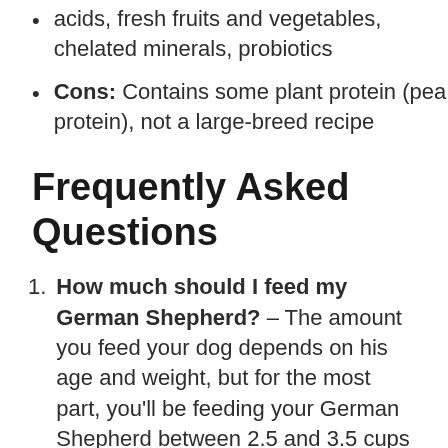acids, fresh fruits and vegetables, chelated minerals, probiotics
Cons: Contains some plant protein (pea protein), not a large-breed recipe
Frequently Asked Questions
How much should I feed my German Shepherd? – The amount you feed your dog depends on his age and weight, but for the most part, you'll be feeding your German Shepherd between 2.5 and 3.5 cups of food per day. The best thing to